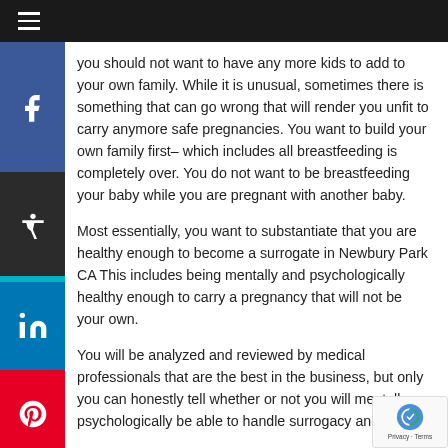Navigation bar with hamburger menu
you should not want to have any more kids to add to your own family. While it is unusual, sometimes there is something that can go wrong that will render you unfit to carry anymore safe pregnancies. You want to build your own family first– which includes all breastfeeding is completely over. You do not want to be breastfeeding your baby while you are pregnant with another baby.
Most essentially, you want to substantiate that you are healthy enough to become a surrogate in Newbury Park CA This includes being mentally and psychologically healthy enough to carry a pregnancy that will not be your own.
You will be analyzed and reviewed by medical professionals that are the best in the business, but only you can honestly tell whether or not you will mentally psychologically be able to handle surrogacy and all.